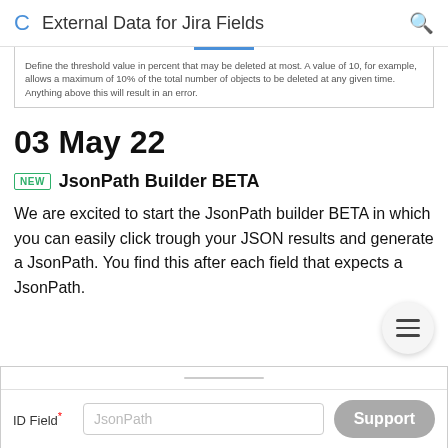External Data for Jira Fields
Define the threshold value in percent that may be deleted at most. A value of 10, for example, allows a maximum of 10% of the total number of objects to be deleted at any given time. Anything above this will result in an error.
03 May 22
NEW  JsonPath Builder BETA
We are excited to start the JsonPath builder BETA in which you can easily click trough your JSON results and generate a JsonPath. You find this after each field that expects a JsonPath.
| ID Field | JsonPath |
| --- | --- |